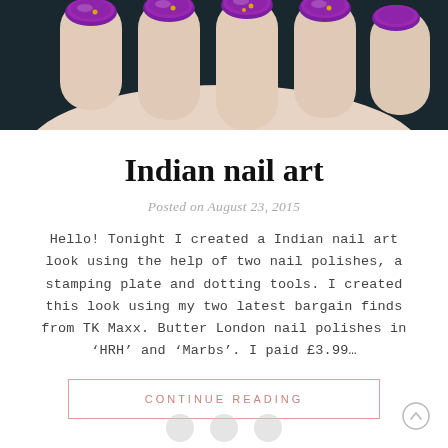[Figure (photo): Close-up photo of a hand with purple/violet nail polish with gold dot accents on dark background]
Indian nail art
Posted on August 23, 2015
Hello! Tonight I created a Indian nail art look using the help of two nail polishes, a stamping plate and dotting tools. I created this look using my two latest bargain finds from TK Maxx. Butter London nail polishes in ‘HRH’ and ‘Marbs’. I paid £3.99…
CONTINUE READING